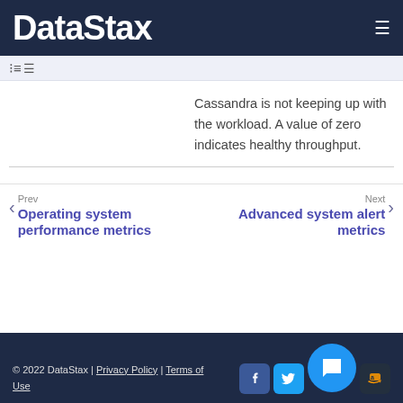DataStax
Cassandra is not keeping up with the workload. A value of zero indicates healthy throughput.
Prev
Operating system performance metrics
Next
Advanced system alert metrics
© 2022 DataStax | Privacy Policy | Terms of Use